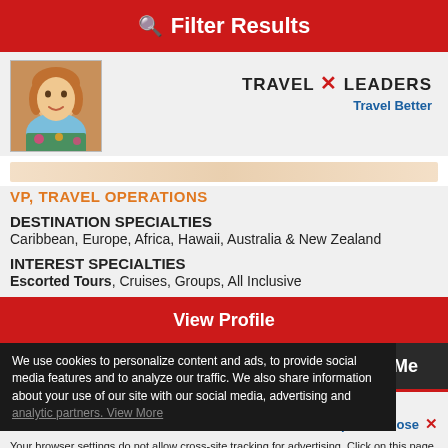Filter Results
[Figure (photo): Profile photo of a woman smiling, wearing a floral top]
[Figure (logo): Travel Leaders — Travel Better logo]
VP, TRAVEL OPERATIONS
DESTINATION SPECIALTIES
Caribbean, Europe, Africa, Hawaii, Australia & New Zealand
INTEREST SPECIALTIES
Escorted Tours, Cruises, Groups, All Inclusive
View Profile
Call Me
We use cookies to personalize content and ads, to provide social media features and to analyze our traffic. We also share information about your use of our site with our social media, advertising and analytic partners. View More
Accept and Close ✕
Your browser settings do not allow cross-site tracking for advertising. Click on this page to allow AdRoll to use cross-site tracking to tailor ads to you. Learn more or opt out of this AdRoll tracking by clicking here. This message only appears once.